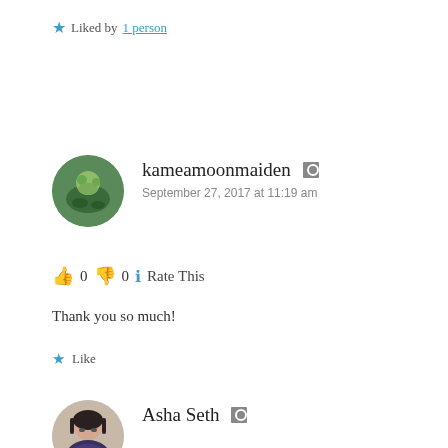★ Liked by 1person
kameamoonmaiden
September 27, 2017 at 11:19 am
👍 0 👎 0 ℹ Rate This
Thank you so much!
★ Like
Asha Seth